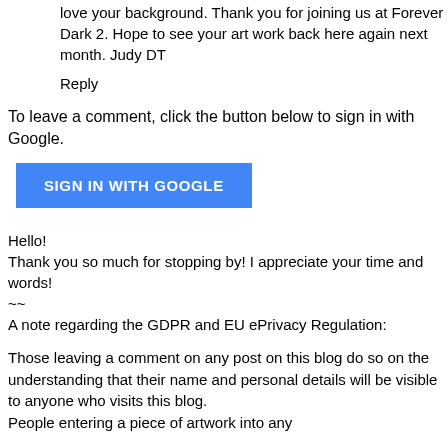love your background. Thank you for joining us at Forever Dark 2. Hope to see your art work back here again next month. Judy DT
Reply
To leave a comment, click the button below to sign in with Google.
[Figure (other): Blue 'SIGN IN WITH GOOGLE' button]
Hello!
Thank you so much for stopping by! I appreciate your time and words!
~~
A note regarding the GDPR and EU ePrivacy Regulation:
Those leaving a comment on any post on this blog do so on the understanding that their name and personal details will be visible to anyone who visits this blog.
People entering a piece of artwork into any